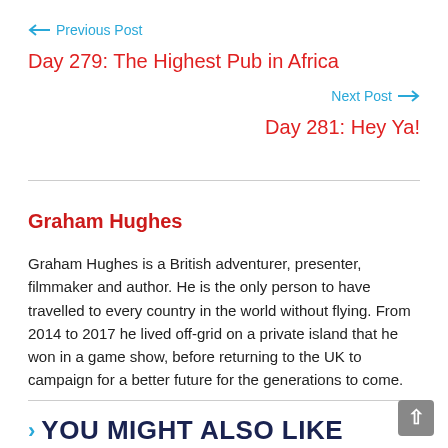← Previous Post
Day 279: The Highest Pub in Africa
Next Post →
Day 281: Hey Ya!
Graham Hughes
Graham Hughes is a British adventurer, presenter, filmmaker and author. He is the only person to have travelled to every country in the world without flying. From 2014 to 2017 he lived off-grid on a private island that he won in a game show, before returning to the UK to campaign for a better future for the generations to come.
› YOU MIGHT ALSO LIKE